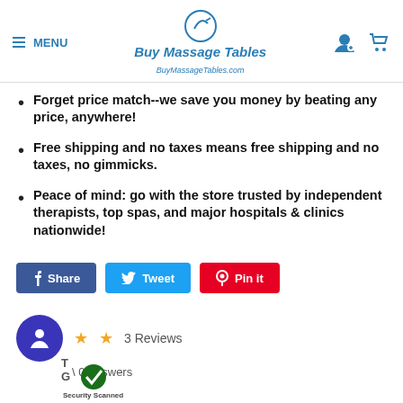MENU | Buy Massage Tables | BuyMassageTables.com
Forget price match--we save you money by beating any price, anywhere!
Free shipping and no taxes means free shipping and no taxes, no gimmicks.
Peace of mind: go with the store trusted by independent therapists, top spas, and major hospitals & clinics nationwide!
Share  Tweet  Pin it
3 Reviews
0 Answers